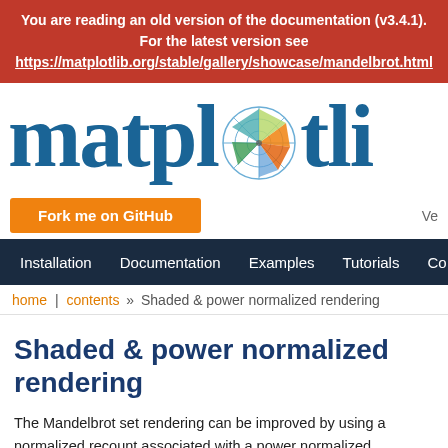You are reading an old version of the documentation (v3.4.1). For the latest version see https://matplotlib.org/stable/gallery/showcase/mandelbrot.html
[Figure (logo): Matplotlib logo with radar/rose chart replacing the 'o' in matplotlib, text partially cropped on right]
[Figure (other): Orange 'Fork me on GitHub' button and 'Ve' text partially cropped on right]
Installation  Documentation  Examples  Tutorials  Co…
home | contents » Shaded & power normalized rendering
Shaded & power normalized rendering
The Mandelbrot set rendering can be improved by using a normalized recount associated with a power normalized colormap (gamma=0.3). Rendering can be further enhanced thanks to shading.